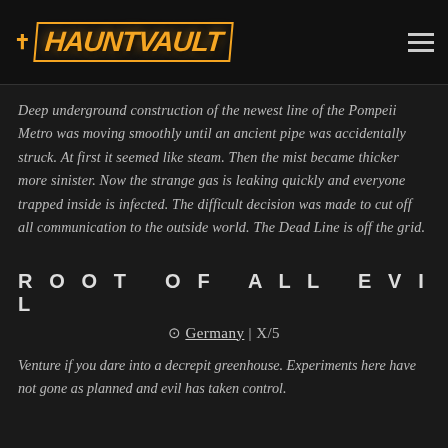HAUNTVAULT
Deep underground construction of the newest line of the Pompeii Metro was moving smoothly until an ancient pipe was accidentally struck. At first it seemed like steam. Then the mist became thicker more sinister. Now the strange gas is leaking quickly and everyone trapped inside is infected. The difficult decision was made to cut off all communication to the outside world. The Dead Line is off the grid.
ROOT OF ALL EVIL
Germany | X/5
Venture if you dare into a decrepit greenhouse. Experiments here have not gone as planned and evil has taken control.
PORTS OF SKULL™
Italy | ??/5